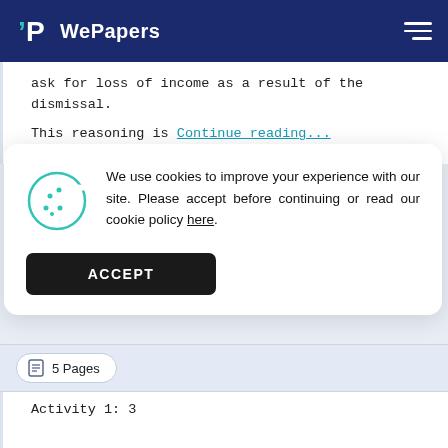WePapers
ask for loss of income as a result of the dismissal. This reasoning is Continue reading...
We use cookies to improve your experience with our site. Please accept before continuing or read our cookie policy here.
ACCEPT
5 Pages
Activity 1: 3